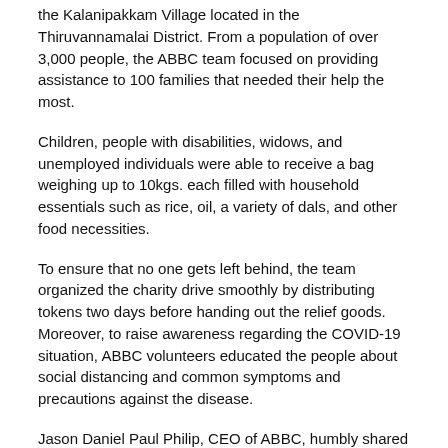the Kalanipakkam Village located in the Thiruvannamalai District. From a population of over 3,000 people, the ABBC team focused on providing assistance to 100 families that needed their help the most.
Children, people with disabilities, widows, and unemployed individuals were able to receive a bag weighing up to 10kgs. each filled with household essentials such as rice, oil, a variety of dals, and other food necessities.
To ensure that no one gets left behind, the team organized the charity drive smoothly by distributing tokens two days before handing out the relief goods. Moreover, to raise awareness regarding the COVID-19 situation, ABBC volunteers educated the people about social distancing and common symptoms and precautions against the disease.
Jason Daniel Paul Philip, CEO of ABBC, humbly shared his joy on the success of this act of goodwill:
“I am glad that we were able to extend our donation campaign to India. With an alarming increase in cases in the country, we wanted to spread hope and positivity in the most beneficial way.”